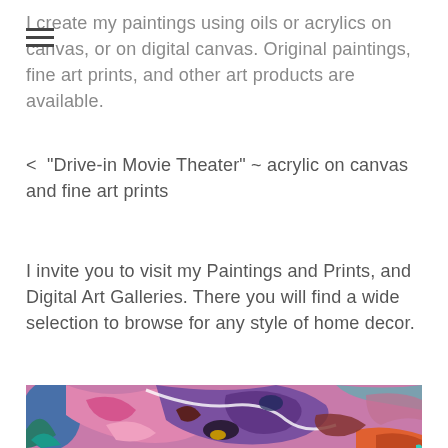I create my paintings using oils or acrylics on canvas, or on digital canvas. Original paintings, fine art prints, and other art products are available.
<  "Drive-in Movie Theater" ~ acrylic on canvas and fine art prints
I invite you to visit my Paintings and Prints, and Digital Art Galleries. There you will find a wide selection to browse for any style of home decor.
[Figure (illustration): Abstract colorful painting with swirling shapes in pink, purple, blue, teal, brown, and other vivid colors — appears to be a detail of an acrylic or digital painting.]